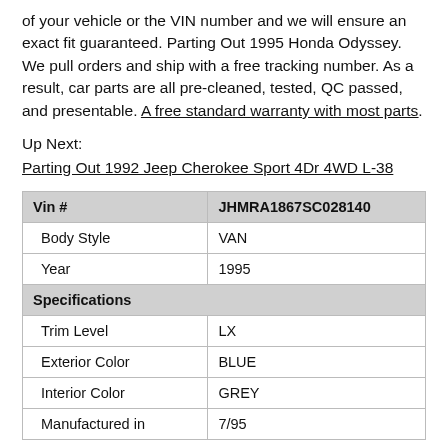of your vehicle or the VIN number and we will ensure an exact fit guaranteed. Parting Out 1995 Honda Odyssey. We pull orders and ship with a free tracking number. As a result, car parts are all pre-cleaned, tested, QC passed, and presentable. A free standard warranty with most parts.
Up Next:
Parting Out 1992 Jeep Cherokee Sport 4Dr 4WD L-38
| Vin # | JHMRA1867SC028140 |
| --- | --- |
| Body Style | VAN |
| Year | 1995 |
| Specifications |  |
| Trim Level | LX |
| Exterior Color | BLUE |
| Interior Color | GREY |
| Manufactured in | 7/95 |